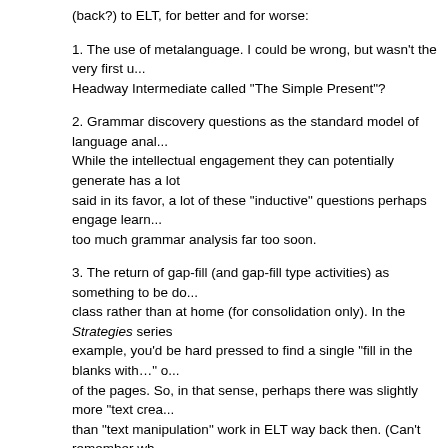(back?) to ELT, for better and for worse:
1. The use of metalanguage. I could be wrong, but wasn't the very first u... Headway Intermediate called “The Simple Present”?
2. Grammar discovery questions as the standard model of language anal... While the intellectual engagement they can potentially generate has a lot said in its favor, a lot of these “inductive” questions perhaps engage learn... too much grammar analysis far too soon.
3. The return of gap-fill (and gap-fill type activities) as something to be do... class rather than at home (for consolidation only). In the Strategies series example, you’d be hard pressed to find a single “fill in the blanks with…” o... of the pages. So, in that sense, perhaps there was slightly more “text crea... than “text manipulation” work in ELT way back then. (Can’t remember wh... coined these terms).
4. The return of books that were meant to be followed fairly linearly, with p... containing lots and lots of text. I’m doing hardly any teaching these days, whenever I teach a group, these are the books that tend to give me the h... time. I don’t really like to plod through the different activities on a page an... 70% of the books on the market these days, in a way you, feel compelled... The extreme opposite would be Peter and Karen Viney’s books, of course though most teachers I work with tend to find that sort of flexibility and lee... little unsettling, too.